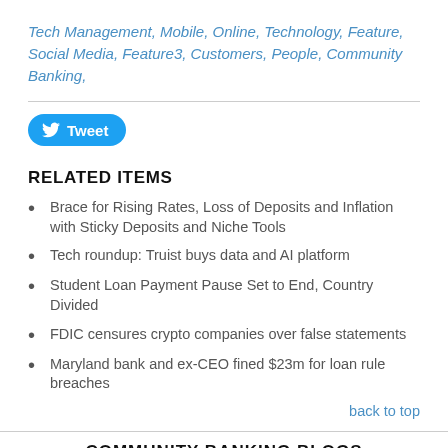Tech Management, Mobile, Online, Technology, Feature, Social Media, Feature3, Customers, People, Community Banking,
[Figure (other): Twitter Tweet button with bird logo]
RELATED ITEMS
Brace for Rising Rates, Loss of Deposits and Inflation with Sticky Deposits and Niche Tools
Tech roundup: Truist buys data and AI platform
Student Loan Payment Pause Set to End, Country Divided
FDIC censures crypto companies over false statements
Maryland bank and ex-CEO fined $23m for loan rule breaches
back to top
COMMUNITY BANKING BLOGS